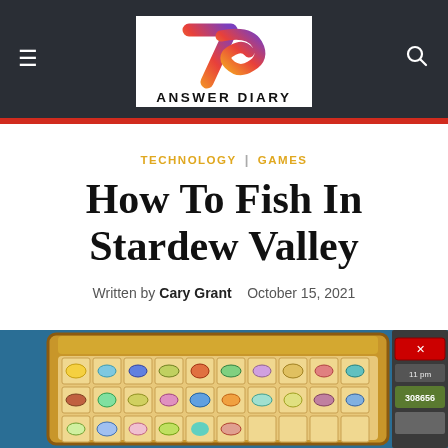Answer Diary
TECHNOLOGY   GAMES
How To Fish In Stardew Valley
Written by Cary Grant   October 15, 2021
[Figure (screenshot): Stardew Valley game inventory/collection screen showing fish and items icons on a colorful UI panel with a blue background]